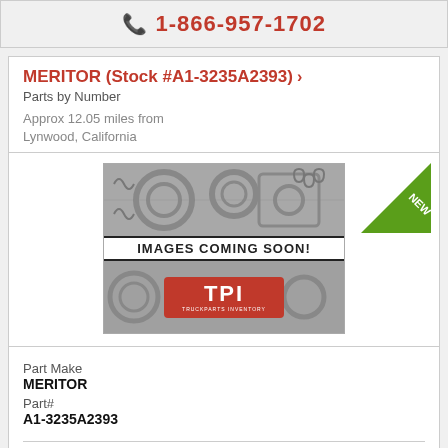1-866-957-1702
MERITOR (Stock #A1-3235A2393)
Parts by Number
Approx 12.05 miles from Lynwood, California
[Figure (logo): TPI Truck Parts Inventory placeholder image with 'IMAGES COMING SOON!' label and TPI logo on mechanical parts background. Green 'NEW' badge in top right corner.]
Part Make
MERITOR
Part#
A1-3235A2393
DIFF. CASE Make: MERITOR